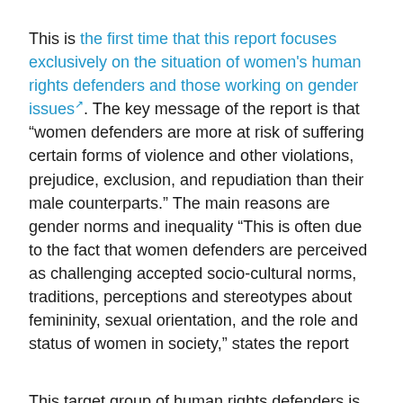This is the first time that this report focuses exclusively on the situation of women's human rights defenders and those working on gender issues. The key message of the report is that "women defenders are more at risk of suffering certain forms of violence and other violations, prejudice, exclusion, and repudiation than their male counterparts." The main reasons are gender norms and inequality "This is often due to the fact that women defenders are perceived as challenging accepted socio-cultural norms, traditions, perceptions and stereotypes about femininity, sexual orientation, and the role and status of women in society," states the report
This target group of human rights defenders is far from being homogeneous. It includes both women and men, developing "a vast range of activities related to women's rights, including